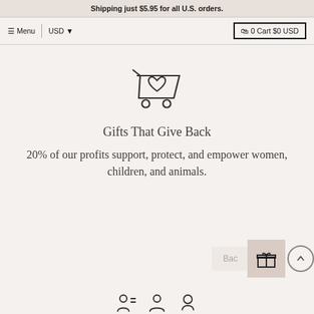Shipping just $5.95 for all U.S. orders.
≡ Menu | USD ▼    🛒 0 Cart $0 USD
[Figure (illustration): Shopping cart icon with a heart symbol inside, outline style]
Gifts That Give Back
20% of our profits support, protect, and empower women, children, and animals.
Back
[Figure (illustration): Gift box icon button (pink/mauve background) and a circular scroll-up arrow button]